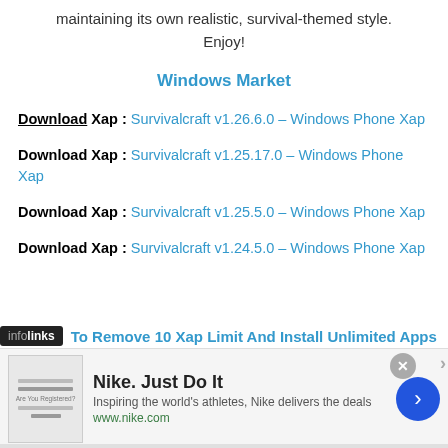maintaining its own realistic, survival-themed style. Enjoy!
Windows Market
Download Xap : Survivalcraft v1.26.6.0 – Windows Phone Xap
Download Xap : Survivalcraft v1.25.17.0 – Windows Phone Xap
Download Xap : Survivalcraft v1.25.5.0 – Windows Phone Xap
Download Xap : Survivalcraft v1.24.5.0 – Windows Phone Xap
To Remove 10 Xap Limit And Install Unlimited Apps
[Figure (screenshot): Nike advertisement banner with logo thumbnail, tagline 'Inspiring the world's athletes, Nike delivers the deals', www.nike.com URL, close button, and blue arrow button]